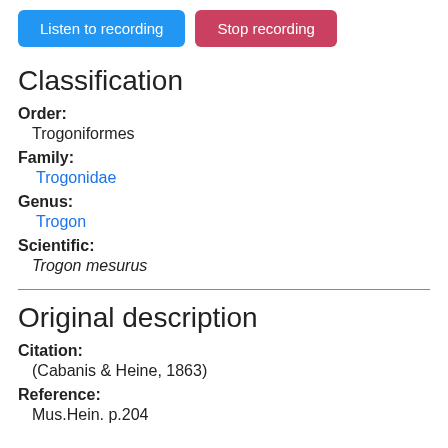[Figure (screenshot): Two buttons: 'Listen to recording' (blue) and 'Stop recording' (red/pink)]
Classification
Order: Trogoniformes
Family: Trogonidae
Genus: Trogon
Scientific: Trogon mesurus
Original description
Citation: (Cabanis & Heine, 1863)
Reference: Mus.Hein. p.204